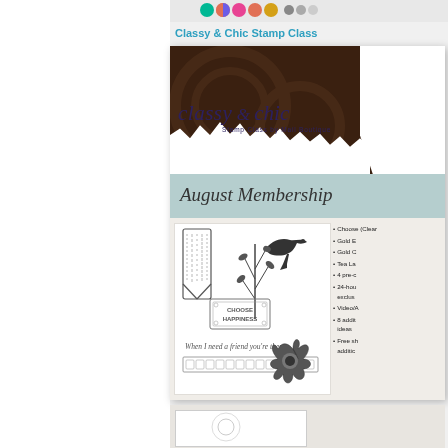[Figure (screenshot): Partial screenshot of a webpage for 'Classy & Chic Stamp Class by Mail Boutique' showing an August Membership card with stamp images (bird, flower, branches, banner stamps) and a bullet point list of membership features. The card has a dark brown decorative header with the cursive logo, a mint/teal 'August Membership' banner, and stamp illustrations below.]
Classy & Chic Stamp Class
classy & chic
Stamp Class by Mail Boutique
August Membership
Choose (Clear
Gold E
Gold C
Tea La
4 pre-c
24-hou exclus
Video/A
8 addit ideas
Free sh additic